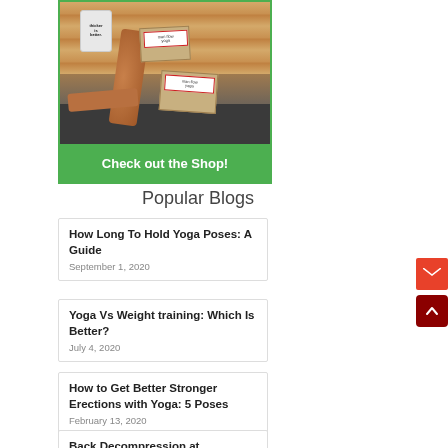[Figure (photo): Photo of yoga/fitness products (cork mat, cork roller, containers with 'thicker is better' text, and boxes labeled 'man flow yoga') arranged on a wooden surface with a green 'Check out the Shop!' banner below.]
Popular Blogs
How Long To Hold Yoga Poses: A Guide
September 1, 2020
Yoga Vs Weight training: Which Is Better?
July 4, 2020
How to Get Better Stronger Erections with Yoga: 5 Poses
February 13, 2020
Back Decompression at